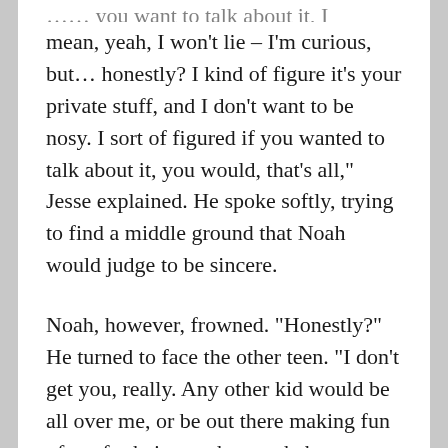mean, yeah, I won’t lie – I’m curious, but… honestly? I kind of figure it’s your private stuff, and I don’t want to be nosy. I sort of figured if you wanted to talk about it, you would, that’s all,” Jesse explained. He spoke softly, trying to find a middle ground that Noah would judge to be sincere.
Noah, however, frowned. “Honestly?” He turned to face the other teen. “I don’t get you, really. Any other kid would be all over me, or be out there making fun of me for being such a cry-baby, you know? A wuss…”